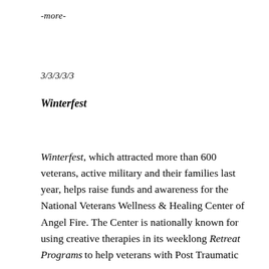-more-
3/3/3/3/3
Winterfest
Winterfest, which attracted more than 600 veterans, active military and their families last year, helps raise funds and awareness for the National Veterans Wellness & Healing Center of Angel Fire. The Center is nationally known for using creative therapies in its weeklong Retreat Programs to help veterans with Post Traumatic